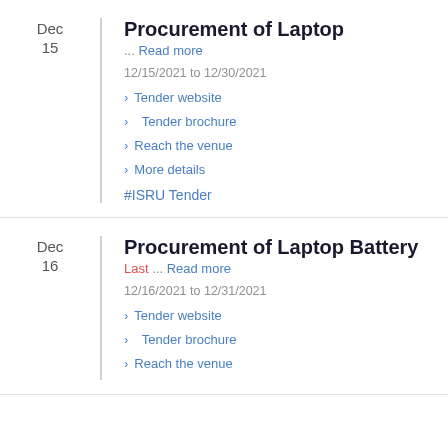Dec 15
Procurement of Laptop
... Read more
12/15/2021 to 12/30/2021
> Tender website
> Tender brochure
> Reach the venue
> More details
#ISRU Tender
Dec 16
Procurement of Laptop Battery
Last ... Read more
12/16/2021 to 12/31/2021
> Tender website
> Tender brochure
> Reach the venue